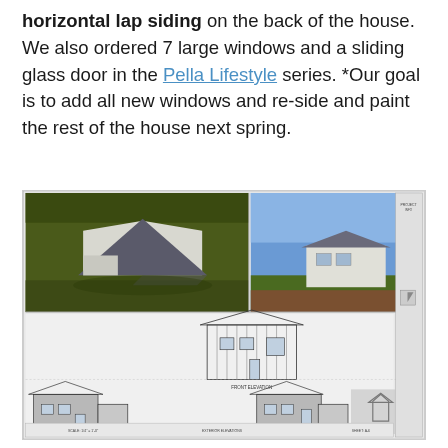horizontal lap siding on the back of the house.  We also ordered 7 large windows and a sliding glass door in the Pella Lifestyle series. *Our goal is to add all new windows and re-side and paint the rest of the house next spring.
[Figure (engineering-diagram): Architectural drawing sheet showing 3D renderings of a house (two views: front-left perspective showing grey/white house with dark roof on green landscape, and rear perspective with blue sky background) along with elevation drawings including front elevation, rear elevation, right elevation, and left elevation of the house with dimensions and annotations. A logo/watermark appears in the lower right corner.]